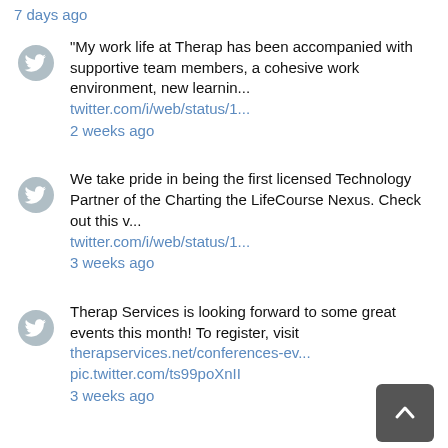7 days ago
"My work life at Therap has been accompanied with supportive team members, a cohesive work environment, new learnin... twitter.com/i/web/status/1... 2 weeks ago
We take pride in being the first licensed Technology Partner of the Charting the LifeCourse Nexus. Check out this v... twitter.com/i/web/status/1... 3 weeks ago
Therap Services is looking forward to some great events this month! To register, visit therapservices.net/conferences-ev... pic.twitter.com/ts99poXnII 3 weeks ago